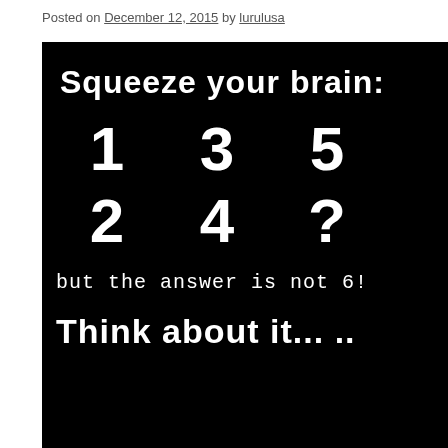Posted on December 12, 2015 by lurulusa
[Figure (photo): Black background image with white text showing a brain teaser puzzle: 'Squeeze your brain:' at the top, then numbers arranged in two rows: 1, 3, 5 on top row and 2, 4, ? on bottom row, followed by 'but the answer is not 6!' and 'Think about it... ...' at the bottom.]